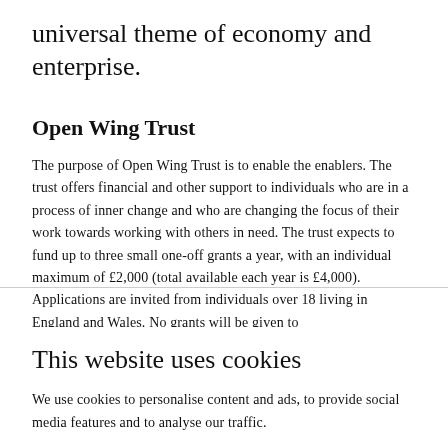universal theme of economy and enterprise.
Open Wing Trust
The purpose of Open Wing Trust is to enable the enablers. The trust offers financial and other support to individuals who are in a process of inner change and who are changing the focus of their work towards working with others in need. The trust expects to fund up to three small one-off grants a year, with an individual maximum of £2,000 (total available each year is £4,000). Applications are invited from individuals over 18 living in England and Wales. No grants will be given to
This website uses cookies
We use cookies to personalise content and ads, to provide social media features and to analyse our traffic.